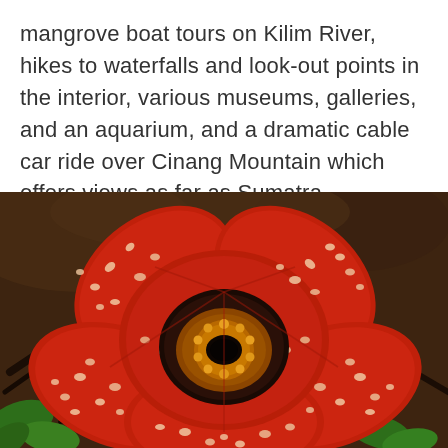mangrove boat tours on Kilim River, hikes to waterfalls and look-out points in the interior, various museums, galleries, and an aquarium, and a dramatic cable car ride over Cinang Mountain which offers views as far as Sumatra.
[Figure (photo): Close-up photograph of a large red Rafflesia flower with white spots and a central dark circular opening revealing yellow stamens, set against a backdrop of dark soil, roots, and green leaves.]